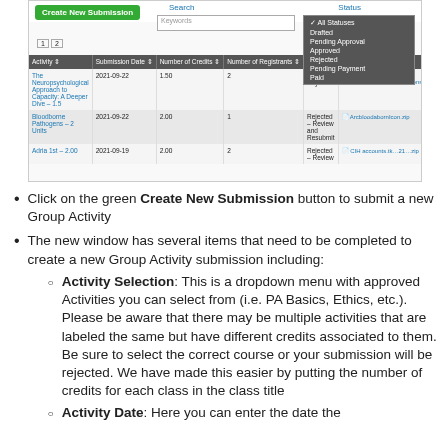[Figure (screenshot): Screenshot of a web application showing a 'Create New Submission' green button, a Search field with Keywords input, a Status dropdown menu with options (All Statuses, Drafted, Pending Approval, Approved, Rejected, Pending Payment, Paid), pagination controls (1, 2), and a table with columns: Activity, Submission Date, Number of Credits, Number of Registrants, Status, Supporting Documents. Three rows of data are visible: (1) The Neuropsychological Approach to Capacity: A Deeper Dive – 1.5, 2021-09-22, 1.50, 2, Pending Payment, CAPAPSKCTrainingQuestions.png; (2) Bloodborne Pathogens – 2 Units, 2021-09-22, 2.00, 1, Rejected – Review and Resubmit, ArcbloodabornsIcon.zip; (3) Adria 1st – 2.00, 2021-09-19, 2.00, 2, Rejected – Review, CIH account.tk...21...zip]
Click on the green Create New Submission button to submit a new Group Activity
The new window has several items that need to be completed to create a new Group Activity submission including:
Activity Selection: This is a dropdown menu with approved Activities you can select from (i.e. PA Basics, Ethics, etc.). Please be aware that there may be multiple activities that are labeled the same but have different credits associated to them. Be sure to select the correct course or your submission will be rejected. We have made this easier by putting the number of credits for each class in the class title
Activity Date: Here you can enter the date the